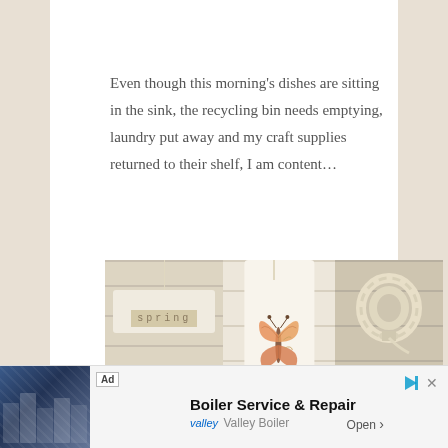Even though this morning's dishes are sitting in the sink, the recycling bin needs emptying, laundry put away and my craft supplies returned to their shelf, I am content…
[Figure (photo): A crafting flat-lay photo showing three panels: left panel has a wooden tag with 'spring' stamped on a ribbon; center panel shows a gift tag with a hand-drawn butterfly; right panel shows a loop of natural twine.]
Boiler Service & Repair
Valley Boiler
Open